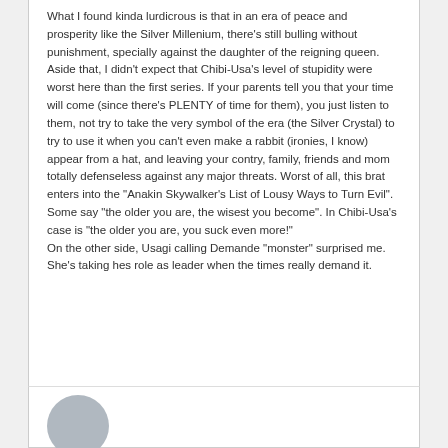What I found kinda lurdicrous is that in an era of peace and prosperity like the Silver Millenium, there's still bulling without punishment, specially against the daughter of the reigning queen. Aside that, I didn't expect that Chibi-Usa's level of stupidity were worst here than the first series. If your parents tell you that your time will come (since there's PLENTY of time for them), you just listen to them, not try to take the very symbol of the era (the Silver Crystal) to try to use it when you can't even make a rabbit (ironies, I know) appear from a hat, and leaving your contry, family, friends and mom totally defenseless against any major threats. Worst of all, this brat enters into the "Anakin Skywalker's List of Lousy Ways to Turn Evil". Some say "the older you are, the wisest you become". In Chibi-Usa's case is "the older you are, you suck even more!" On the other side, Usagi calling Demande "monster" surprised me. She's taking hes role as leader when the times really demand it.